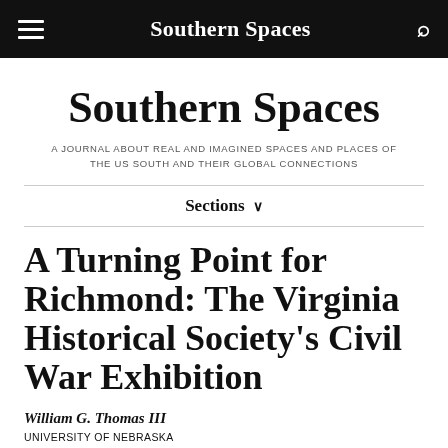Southern Spaces
Southern Spaces
A JOURNAL ABOUT REAL AND IMAGINED SPACES AND PLACES OF THE US SOUTH AND THEIR GLOBAL CONNECTIONS
Sections ∨
A Turning Point for Richmond: The Virginia Historical Society's Civil War Exhibition
William G. Thomas III
UNIVERSITY OF NEBRASKA
REVIEW
PUBLISHED JULY 26, 2011